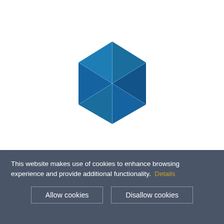[Figure (logo): Blue hexagon logo with internal star/asterisk line pattern, dark blue geometric shapes forming a 3D cube-like hexagon with lighter blue line divisions]
This website makes use of cookies to enhance browsing experience and provide additional functionality. Details
Allow cookies
Disallow cookies